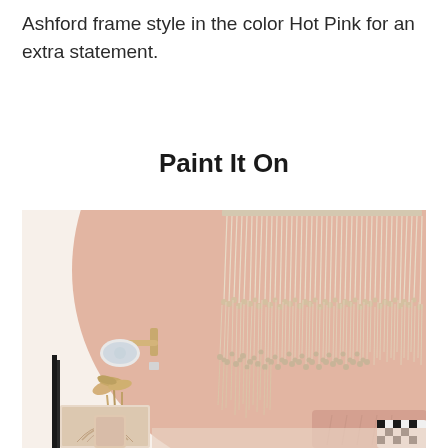Ashford frame style in the color Hot Pink for an extra statement.
Paint It On
[Figure (photo): A bedroom interior scene showing a large blush/dusty pink painted circle on a white wall acting as a headboard accent. A macrame wall hanging with long fringe tassels hangs from the top of the circle. On the left wall, a white wall-mounted sconce light is visible. Below are dried pampas grass in a vase, framed artwork, and a bed with pink and checkered pillows.]